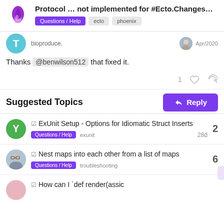Protocol … not implemented for #Ecto.Changes… | Questions / Help | ecto | phoenix
bioproduce.
Apr/2020
Thanks @benwilson512 that fixed it.
1
Suggested Topics
☑ ExUnit Setup - Options for Idiomatic Struct Inserts
Questions / Help    exunit    28d    2
☑ Nest maps into each other from a list of maps
Questions / Help    troubleshooting    3d    6
☑ How can I `def render(assic
3 / 5